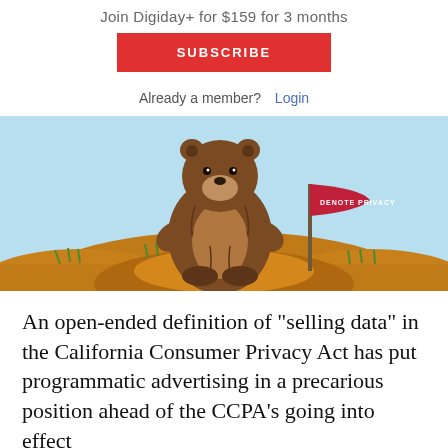Join Digiday+ for $159 for 3 months
SUBSCRIBE
Already a member?  Login
[Figure (illustration): Illustration of a brown bear sitting on a dirt mound with a red flag labeled 'DENOTE PRIVACY' planted in the ground, against a light blue sky background.]
An open-ended definition of “selling data” in the California Consumer Privacy Act has put programmatic advertising in a precarious position ahead of the CCPA’s going into effect